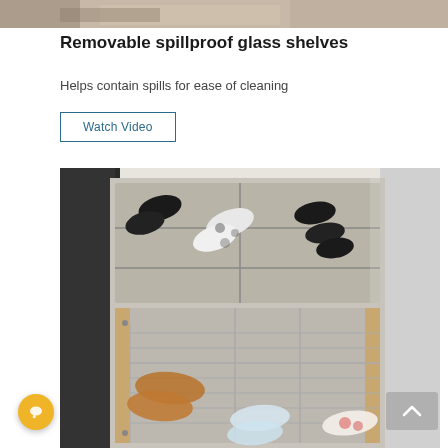[Figure (photo): Partial top view of refrigerator shelves with food items]
Removable spillproof glass shelves
Helps contain spills for ease of cleaning
Watch Video
[Figure (photo): Refrigerator drawer/bottle organizer showing wine bottles and beverage bottles arranged in pull-out drawer racks]